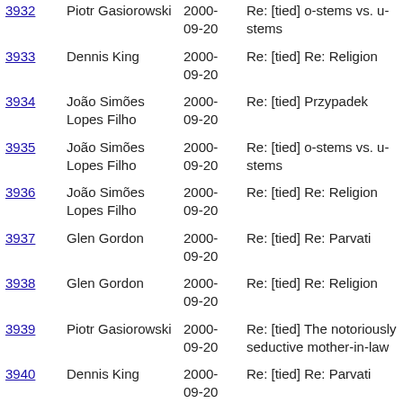| ID | Author | Date | Subject |
| --- | --- | --- | --- |
| 3932 | Piotr Gasiorowski | 2000-09-20 | Re: [tied] o-stems vs. u-stems |
| 3933 | Dennis King | 2000-09-20 | Re: [tied] Re: Religion |
| 3934 | João Simões Lopes Filho | 2000-09-20 | Re: [tied] Przypadek |
| 3935 | João Simões Lopes Filho | 2000-09-20 | Re: [tied] o-stems vs. u-stems |
| 3936 | João Simões Lopes Filho | 2000-09-20 | Re: [tied] Re: Religion |
| 3937 | Glen Gordon | 2000-09-20 | Re: [tied] Re: Parvati |
| 3938 | Glen Gordon | 2000-09-20 | Re: [tied] Re: Religion |
| 3939 | Piotr Gasiorowski | 2000-09-20 | Re: [tied] The notoriously seductive mother-in-law |
| 3940 | Dennis King | 2000-09-20 | Re: [tied] Re: Parvati |
| 3941 | Piotr Gasiorowski | 2000-09-20 | Re: [tied] Re: Parvati |
| 3942 | Glen Gordon | 2000-09-20 | Re: [tied] Re: Religion |